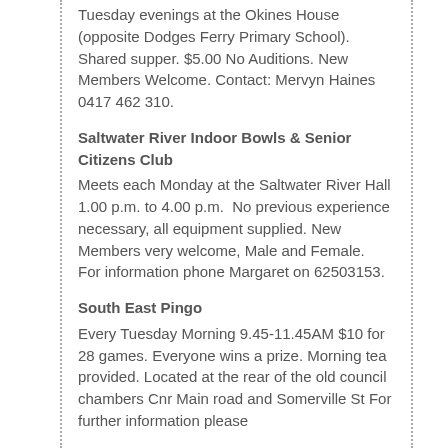Tuesday evenings at the Okines House (opposite Dodges Ferry Primary School). Shared supper. $5.00 No Auditions. New Members Welcome. Contact: Mervyn Haines 0417 462 310.
Saltwater River Indoor Bowls & Senior Citizens Club
Meets each Monday at the Saltwater River Hall 1.00 p.m. to 4.00 p.m.  No previous experience necessary, all equipment supplied. New Members very welcome, Male and Female.   For information phone Margaret on 62503153.
South East Pingo
Every Tuesday Morning 9.45-11.45AM $10 for 28 games. Everyone wins a prize. Morning tea provided. Located at the rear of the old council chambers Cnr Main road and Somerville St For further information please